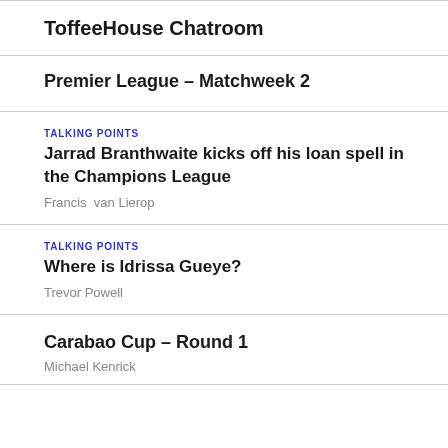ToffeeHouse Chatroom
Premier League – Matchweek 2
TALKING POINTS
Jarrad Branthwaite kicks off his loan spell in the Champions League
Francis  van Lierop
TALKING POINTS
Where is Idrissa Gueye?
Trevor Powell
Carabao Cup – Round 1
Michael Kenrick